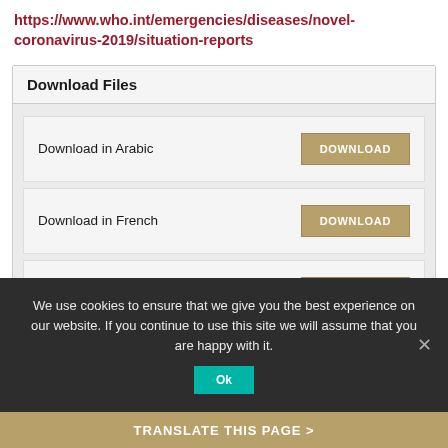https://www.who.int/emergencies/diseases/novel-coronavirus-2019/situation-reports
Download Files
Download in Arabic
Download in French
Download in Portuguese
Download in English
We use cookies to ensure that we give you the best experience on our website. If you continue to use this site we will assume that you are happy with it.
TRANSLATE THIS PAGE >